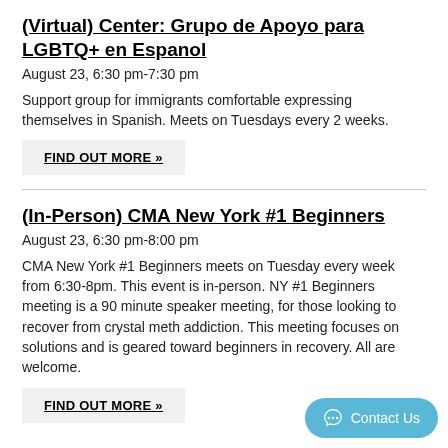(Virtual) Center: Grupo de Apoyo para LGBTQ+ en Espanol
August 23, 6:30 pm-7:30 pm
Support group for immigrants comfortable expressing themselves in Spanish. Meets on Tuesdays every 2 weeks.
FIND OUT MORE »
(In-Person) CMA New York #1 Beginners
August 23, 6:30 pm-8:00 pm
CMA New York #1 Beginners meets on Tuesday every week from 6:30-8pm. This event is in-person. NY #1 Beginners meeting is a 90 minute speaker meeting, for those looking to recover from crystal meth addiction. This meeting focuses on solutions and is geared toward beginners in recovery. All are welcome.
FIND OUT MORE »